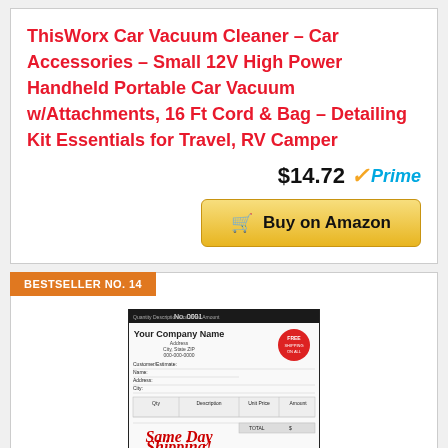ThisWorx Car Vacuum Cleaner – Car Accessories – Small 12V High Power Handheld Portable Car Vacuum w/Attachments, 16 Ft Cord & Bag – Detailing Kit Essentials for Travel, RV Camper
$14.72 Prime
Buy on Amazon
BESTSELLER NO. 14
[Figure (photo): Product image of a paper invoice/work order form with 'Your Company Name' at top and 'Same Day Shipping! If ordered by 11 a.m. Monday-Friday' text at bottom in red script.]